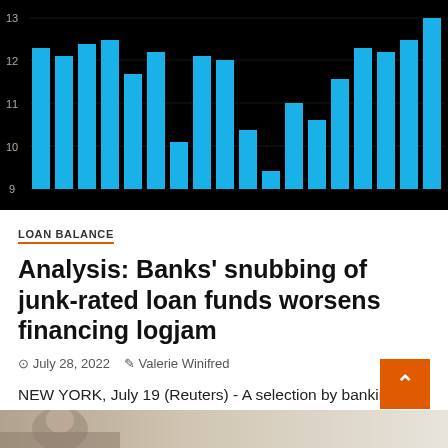[Figure (bar-chart): Loan Balance]
LOAN BALANCE
Analysis: Banks' snubbing of junk-rated loan funds worsens financing logjam
July 28, 2022   Valerie Winifred
NEW YORK, July 19 (Reuters) - A selection by banking institutions to improve how they invest spare funds is limiting...
[Figure (photo): Partial bottom image, cropped at bottom of page]